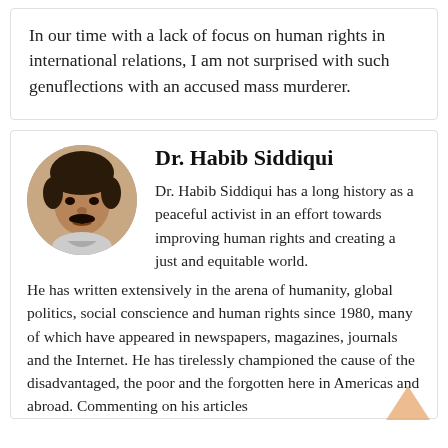In our time with a lack of focus on human rights in international relations, I am not surprised with such genuflections with an accused mass murderer.
Dr. Habib Siddiqui
[Figure (photo): Circular portrait photo of Dr. Habib Siddiqui, a man with dark hair and mustache]
Dr. Habib Siddiqui has a long history as a peaceful activist in an effort towards improving human rights and creating a just and equitable world. He has written extensively in the arena of humanity, global politics, social conscience and human rights since 1980, many of which have appeared in newspapers, magazines, journals and the Internet. He has tirelessly championed the cause of the disadvantaged, the poor and the forgotten here in Americas and abroad. Commenting on his articles